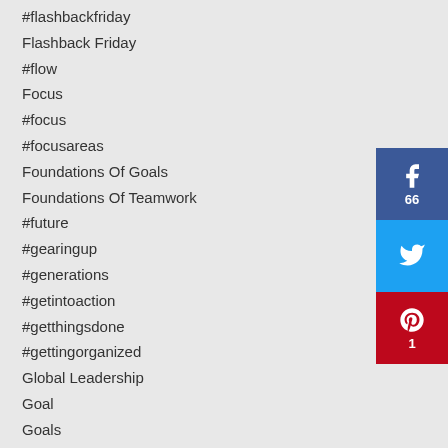#flashbackfriday
Flashback Friday
#flow
Focus
#focus
#focusareas
Foundations Of Goals
Foundations Of Teamwork
#future
#gearingup
#generations
#getintoaction
#getthingsdone
#gettingorganized
Global Leadership
Goal
Goals
#goals
#graphic
[Figure (infographic): Social share buttons: Facebook (66 shares), Twitter, Pinterest (1 share)]